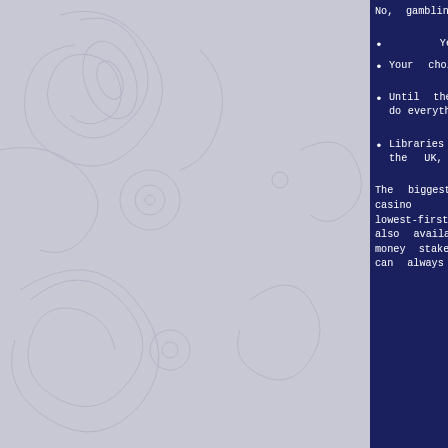No, gambling winnings are considered windfall under the Tax Act and are thus not eligible to be taxed.
Yes, only new players are eligible to claim a no deposit bonus.
Your choice of a casino operator will depend on the games you like to play.
Until then, rest assured that the majority of online casinos do everything in their power to make their websites accessible to all players.
Libraries of games aren't as large as you'll find in spots like the UK, but there are enough games to play to keep most punters entertained.
The biggest standout feature of SugarHouse's online casino is http://nwmemorybox.com/friends-seven-is-lowest-first-deposit-gaming-additional/ live dealer, which is also available with DraftKings. At any top online casino, real money stakes are bound to activate a range of presents. So you can always count on a welcome package and other gifts. Though real money casinos aren't